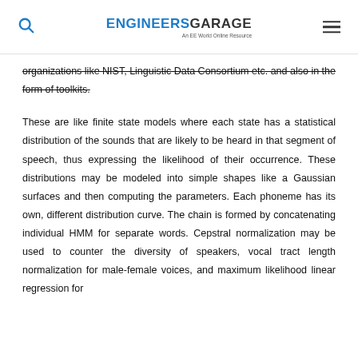ENGINEERS GARAGE — An EE World Online Resource
organizations like NIST, Linguistic Data Consortium etc. and also in the form of toolkits.
These are like finite state models where each state has a statistical distribution of the sounds that are likely to be heard in that segment of speech, thus expressing the likelihood of their occurrence. These distributions may be modeled into simple shapes like a Gaussian surfaces and then computing the parameters. Each phoneme has its own, different distribution curve. The chain is formed by concatenating individual HMM for separate words. Cepstral normalization may be used to counter the diversity of speakers, vocal tract length normalization for male-female voices, and maximum likelihood linear regression for